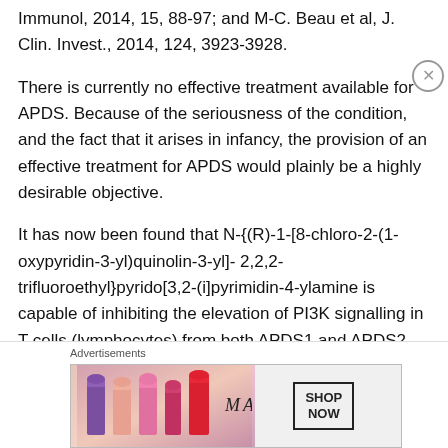Immunol, 2014, 15, 88-97; and M-C. Beau et al, J. Clin. Invest., 2014, 124, 3923-3928.
There is currently no effective treatment available for APDS. Because of the seriousness of the condition, and the fact that it arises in infancy, the provision of an effective treatment for APDS would plainly be a highly desirable objective.
It has now been found that N-{(R)-1-[8-chloro-2-(1-oxypyridin-3-yl)quinolin-3-yl]- 2,2,2-trifluoroethyl}pyrido[3,2-(i]pyrimidin-4-ylamine is capable of inhibiting the elevation of PI3K signalling in T cells (lymphocytes) from both APDS1 and APDS2 patients in the presence or absence of T cell receptor activation.
[Figure (photo): Advertisement banner showing MAC cosmetics lipsticks with 'SHOP NOW' button and MAC logo]